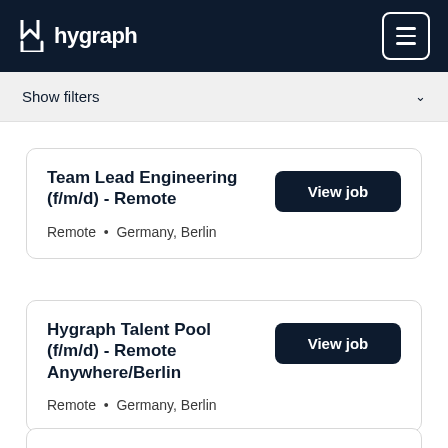hygraph
Show filters
Team Lead Engineering (f/m/d) - Remote
Remote • Germany, Berlin
Hygraph Talent Pool (f/m/d) - Remote Anywhere/Berlin
Remote • Germany, Berlin